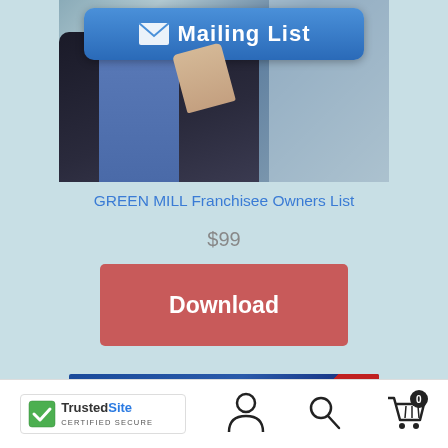[Figure (photo): Person in suit pressing a blue 'Mailing List' button with envelope icon]
GREEN MILL Franchisee Owners List
$99
[Figure (illustration): Red Download button]
[Figure (photo): PDF file icon with blue and red design]
[Figure (logo): TrustedSite CERTIFIED SECURE badge with green checkmark]
[Figure (illustration): Person/account icon in navigation bar]
[Figure (illustration): Search magnifying glass icon]
[Figure (illustration): Shopping cart icon with badge showing 0]